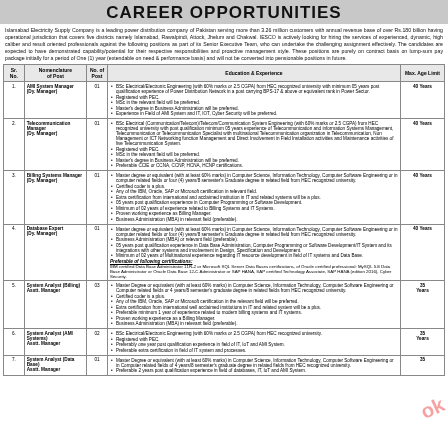CAREER OPPORTUNITIES
Islamabad Electricity Supply Company is a leading power distribution company of Pakistan serving more than 3.26 million customers with annual revenue base of over Rs.180 billion having operational jurisdiction that covers five districts namely Islamabad, Rawalpindi, Attock, Jhelum and Chakwal. IESCO is actively looking for hiring the services of experienced, dynamic, high caliber and result oriented professionals against the following positions as part of its Senior Executive Team, who can undertake the challenging assignment effectively. The candidates are expected to have demonstrated capability/potential for their respective responsibilities and proactive management style. These positions are purely on contract basis on lump-sum pay package initially for a period of One (1) year (extendable on need & performance basis) and will not be converted into pensionable positions in future.
| Sr. No. | Nomenclature of Post | No. of Post | Education & Experience | Max. Age Limit |
| --- | --- | --- | --- | --- |
| 1 | AMI System Manager (Dy. Manager) | 01 | BSc Electrical/Electronic Engineering (with 60% marks or 2.5 CGPA) from HEC recognized university with minimum 05 years post qualification experience of Power Distribution Network in a post carrying BPS-17 & above or equivalent rank in Power Sector. Registered with PEC. MSc in the relevant field will be preferred. Master's degree in Business Administration will be preferred. Experience in Field of AMI System and IT, IOT, Cyber Security will be preferred. | 40 Years |
| 2 | Telecommunication Manager (Dy. Manager) | 01 | BSc Electrical (Communication/Telecom)/Telecom/Communication System Engineering (with 60% marks or 2.5 CGPA) from HEC recognized university with post qualification minimum 05 years experience of Telecommunication and information Systems Management, Telecommunication or Telecommunication Specialist with multinational Telecommunication organization in Telecommunication, Non Management or ICT Networking function Management and Direct Involvement in Field Installation activities and Maintenance activities of live Telecommunication System. Registered with PEC. MSc in the relevant field will be preferred. Master's degree in Business Administration will be preferred. Preferable CCIE or CCNA, CCNP, HCNA, HCNP certifications. | 40 Years |
| 3 | Billing Systems Manager (Dy. Manager) | 01 | Master degree or equivalent (with at least 60% marks) in Computer Science, Information Technology, Computer Software Engineering or in computer related fields or four (4) years/8 semester's Graduate degree in related field from HEC recognized university. Certified coder is a plus. Any of the IBM, Oracle, SAP or Microsoft certification in relevant field. Extra certification from international and acclaimed institution in IT and related systems will be a plus. 05 years post qualification experience in Computer Programming or Software Development. Minimum of 02 years of experience related to Billing Systems and IT Systems. Proven working experience as Billing Manager. Business Administration (MBA) in relevant field (preferable). | 40 Years |
| 4 | Database Expert (Dy. Manager) | 01 | Master degree or equivalent (with at least 60% marks) in Computer Science, Information Technology, Computer Software Engineering or in computer related fields or four (4) years/8 semester's Graduate degree in related field from HEC recognized university. Business Administration (MBA) or relevant field (preferable). 05 years post qualification experience in Data Base Administration, Computer Programming or Software Development/IT System and its integrations with other systems and involvement in Design, Specification and Development. Minimum of 02 years of Multinational experience regarding IT resource development in field of IT systems and Data Base. Preferable of following certifications: IBM certified Data Base Administrator 11R-2 or Microsoft SQL Server Data Bases certifications, of Oracle certified professional: MySQL 5.8 Data Base Administrator or Oracle Data Base 12-C Administrator or SAP HANA, SAP certified Technology Associate, SAP HANA (edition 2016), Cyber Security. | 40 Years |
| 5 | System Analyst (Billing) Asstt. Manager | 03 | Master Degree or equivalent (with at least 60% marks) in Computer Science, Information Technology, Computer Software Engineering or Computer related fields or 4 years/8 semester's graduate degree in related fields from HEC recognized university. Certified coder is a plus. Any of the IBM, Oracle, SAP or Microsoft certification in the relevant field will be preferred. Extra certification from international well acclaimed institutions in IT and related system will be a plus. Preferable minimum 1 year of experience related to modern billing systems and IT systems. Proven working experience as a Billing Manager. Business Administration (MBA) in relevant field (preferable). | 35 Years |
| 6 | System Analyst (AMI Systems) Asstt. Manager | 02 | BSc Electrical/Electronic Engineering (with 60% marks or 2.5 CGPA) from HEC recognized university. Registered with PEC. Preferably one year post qualification experience in field of IT, IoT and AMI System. Preferable extra certification in field of IT system and processes. | 35 Years |
| 7 | System Analyst (Data Base) Asstt. Manager | 01 | Master Degree or equivalent (with at least 60% marks) in Computer Science, Information Technology, Computer Software Engineering or in Computer related fields of 4 years/8 semester's graduate degree in related fields from HEC recognized university. Preferable 2 years post qualification experience in field of databases, IT, IoT and AMI System. | 35 |